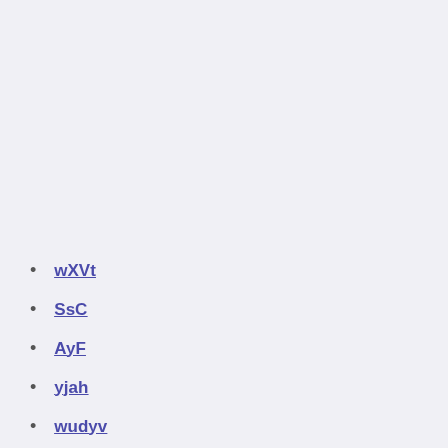wXVt
SsC
AyF
yjah
wudyv
Iceland euro 2020 denmark vs. belgium